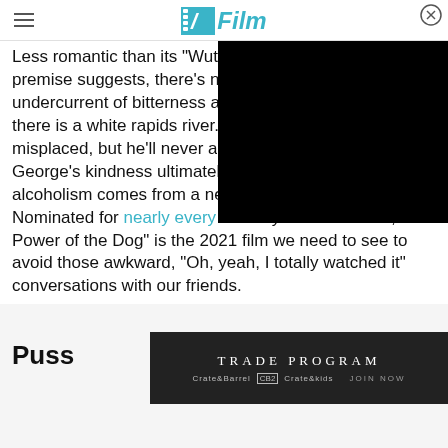/Film
Less romantic than its "Wut..." premise suggests, there's no undercurrent of bitterness a... there is a white rapids river. misplaced, but he'll never a... George's kindness ultimately causes death. Rose's alcoholism comes from a need to protect herself. Nominated for nearly every award you can think of, "The Power of the Dog" is the 2021 film we need to see to avoid those awkward, "Oh, yeah, I totally watched it" conversations with our friends.
Puss
[Figure (photo): Advertisement banner for Crate&Barrel Trade Program showing TRADE PROGRAM text with Crate&Barrel, CB2, and Crate&kids logos and JOIN NOW button]